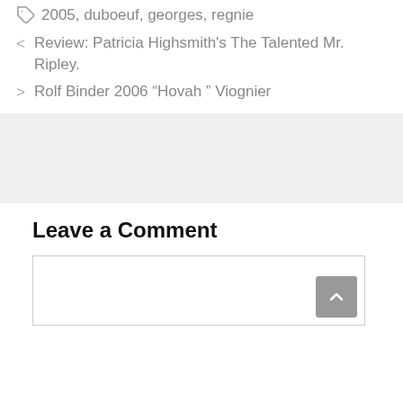2005, duboeuf, georges, regnie
< Review: Patricia Highsmith's The Talented Mr. Ripley.
> Rolf Binder 2006 “Hovah ” Viognier
Leave a Comment